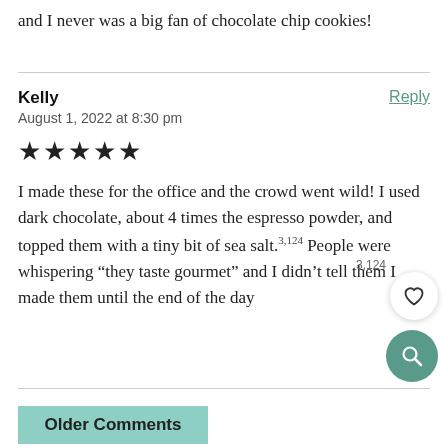and I never was a big fan of chocolate chip cookies!
Kelly
August 1, 2022 at 8:30 pm
★★★★★
I made these for the office and the crowd went wild! I used dark chocolate, about 4 times the espresso powder, and topped them with a tiny bit of sea salt.3,124 People were whispering “they taste gourmet” and I didn’t tell them I made them until the end of the day
Older Comments